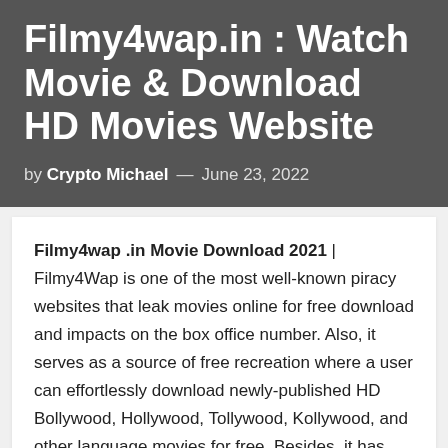Filmy4wap.in : Watch Movie & Download HD Movies Website
by Crypto Michael — June 23, 2022
Filmy4wap .in Movie Download 2021 | Filmy4Wap is one of the most well-known piracy websites that leak movies online for free download and impacts on the box office number. Also, it serves as a source of free recreation where a user can effortlessly download newly-published HD Bollywood, Hollywood, Tollywood, Kollywood, and other language movies for free. Besides, it has become the most favorite website for many people who wants to download the latest Hindi movie free of cost.